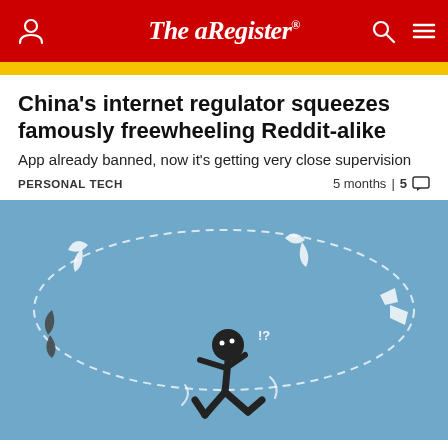The Register
China's internet regulator squeezes famously freewheeling Reddit-alike
App already banned, now it's getting very close supervision
PERSONAL TECH   5 months | 5 comments
[Figure (illustration): Stick figure person ducking/dodging boomerangs flying around them in a circular dashed path, on a blue background]